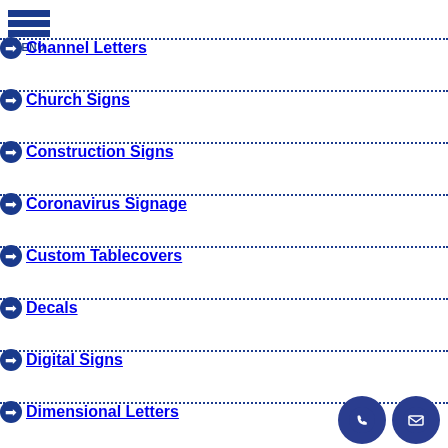➔ Channel Letters
➔ Church Signs
➔ Construction Signs
➔ Coronavirus Signage
➔ Custom Tablecovers
➔ Decals
➔ Digital Signs
➔ Dimensional Letters